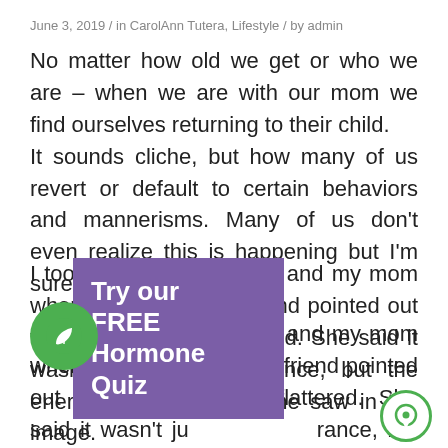June 3, 2019 / in CarolAnn Tutera, Lifestyle / by admin
No matter how old we get or who we are – when we are with our mom we find ourselves returning to their child.
It sounds cliche, but how many of us revert or default to certain behaviors and mannerisms. Many of us don't even realize this is happening but I'm sure our Moms do.
I took a pic[ture of myse]lf and my mom when she w[as in her ]s[ixties]. A friend pointed out tha[t we look]e[d alike. I] was flattered. She said it wasn't ju[st the appea]rance, but the energy and demeanor she saw in the image.
[Figure (other): Purple popup box overlaid on text reading 'Try our FREE Hormone Quiz', with a green circle icon with a leaf, and a green chat circle icon in the bottom right]